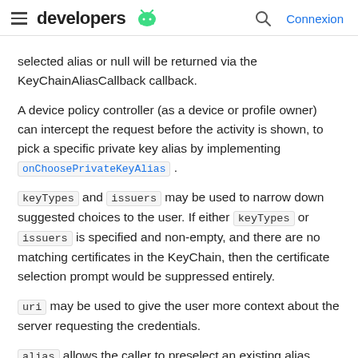developers [android logo] | [search icon] Connexion
selected alias or null will be returned via the KeyChainAliasCallback callback.
A device policy controller (as a device or profile owner) can intercept the request before the activity is shown, to pick a specific private key alias by implementing onChoosePrivateKeyAlias .
keyTypes and issuers may be used to narrow down suggested choices to the user. If either keyTypes or issuers is specified and non-empty, and there are no matching certificates in the KeyChain, then the certificate selection prompt would be suppressed entirely.
uri may be used to give the user more context about the server requesting the credentials.
alias allows the caller to preselect an existing alias